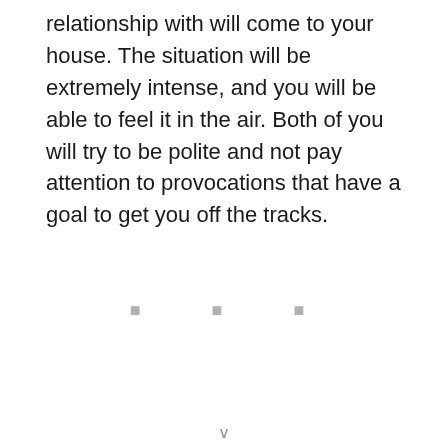relationship with will come to your house. The situation will be extremely intense, and you will be able to feel it in the air. Both of you will try to be polite and not pay attention to provocations that have a goal to get you off the tracks.
■ ■ ■
v